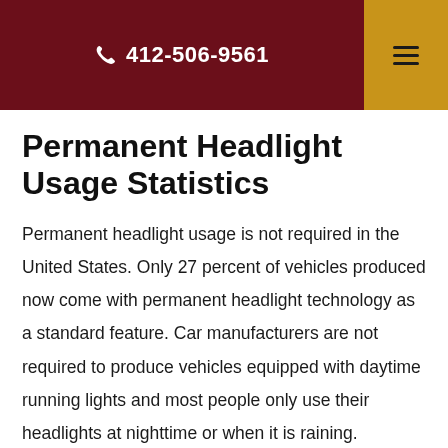412-506-9561
Permanent Headlight Usage Statistics
Permanent headlight usage is not required in the United States. Only 27 percent of vehicles produced now come with permanent headlight technology as a standard feature. Car manufacturers are not required to produce vehicles equipped with daytime running lights and most people only use their headlights at nighttime or when it is raining.